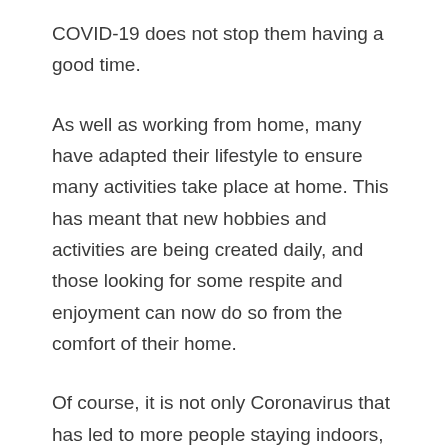COVID-19 does not stop them having a good time.
As well as working from home, many have adapted their lifestyle to ensure many activities take place at home. This has meant that new hobbies and activities are being created daily, and those looking for some respite and enjoyment can now do so from the comfort of their home.
Of course, it is not only Coronavirus that has led to more people staying indoors, there seems to be just as